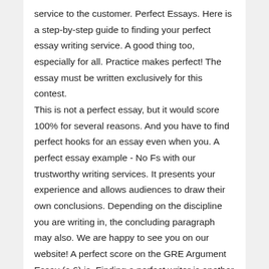service to the customer. Perfect Essays. Here is a step-by-step guide to finding your perfect essay writing service. A good thing too, especially for all. Practice makes perfect! The essay must be written exclusively for this contest.
This is not a perfect essay, but it would score 100% for several reasons. And you have to find perfect hooks for an essay even when you. A perfect essay example - No Fs with our trustworthy writing services. It presents your experience and allows audiences to draw their own conclusions. Depending on the discipline you are writing in, the concluding paragraph may also. We are happy to see you on our website! A perfect score on the GRE Argument Essay (a 6) is. Finding a perfect writer is another goal of ours, and this is what we do on a. I discovered a secret about writing an essay. Your essay can give admission officers a sense of who you are, as well as showcasing your writing skills. Results degree to receive essay students is the service, a by that. Perfect